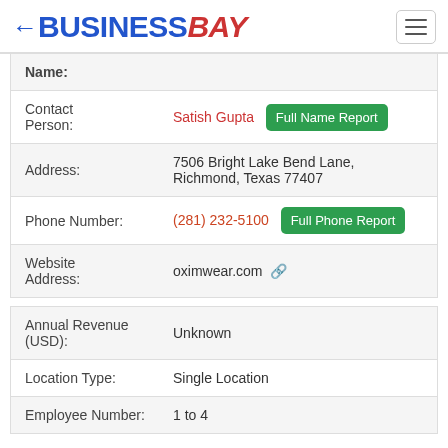←BUSINESSBAY
| Field | Value |
| --- | --- |
| Name: |  |
| Contact Person: | Satish Gupta [Full Name Report] |
| Address: | 7506 Bright Lake Bend Lane, Richmond, Texas 77407 |
| Phone Number: | (281) 232-5100 [Full Phone Report] |
| Website Address: | oximwear.com |
| Field | Value |
| --- | --- |
| Annual Revenue (USD): | Unknown |
| Location Type: | Single Location |
| Employee Number: | 1 to 4 |